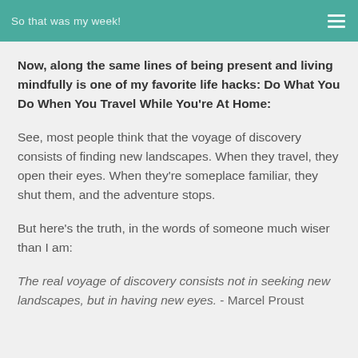So that was my week!
Now, along the same lines of being present and living mindfully is one of my favorite life hacks: Do What You Do When You Travel While You're At Home:
See, most people think that the voyage of discovery consists of finding new landscapes. When they travel, they open their eyes. When they're someplace familiar, they shut them, and the adventure stops.
But here's the truth, in the words of someone much wiser than I am:
The real voyage of discovery consists not in seeking new landscapes, but in having new eyes. - Marcel Proust